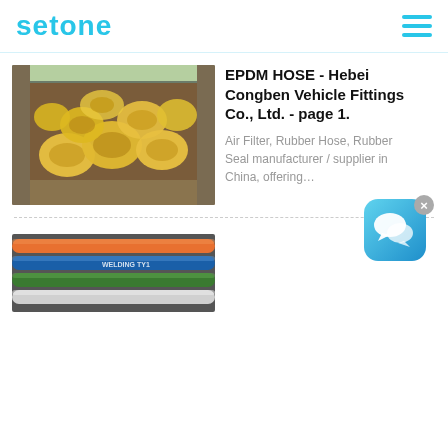setone
[Figure (photo): Shipping container filled with coiled yellow EPDM hoses]
EPDM HOSE - Hebei Congben Vehicle Fittings Co., Ltd. - page 1.
Air Filter, Rubber Hose, Rubber Seal manufacturer / supplier in China, offering…
[Figure (illustration): Blue chat/messaging app icon with speech bubble, with close X button]
[Figure (photo): Multicolored rubber hoses - blue, orange, green, white]